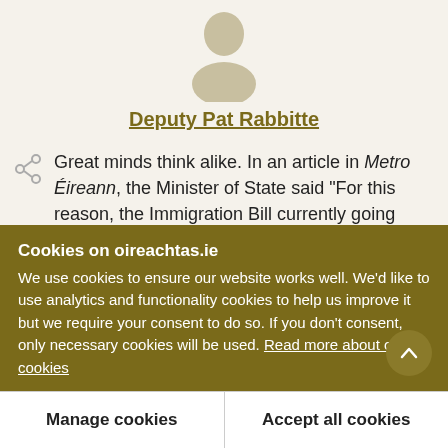[Figure (illustration): Generic avatar/profile silhouette icon in beige/tan color]
Deputy Pat Rabbitte
Great minds think alike. In an article in Metro Éireann, the Minister of State said "For this reason, the Immigration Bill currently going through the Dáil will need to be amended, and in a fashion that explicitly makes us more attractive to immigrants." He also indicated that "The bureaucracy...
Cookies on oireachtas.ie
We use cookies to ensure our website works well. We'd like to use analytics and functionality cookies to help us improve it but we require your consent to do so. If you don't consent, only necessary cookies will be used. Read more about our cookies
Manage cookies
Accept all cookies